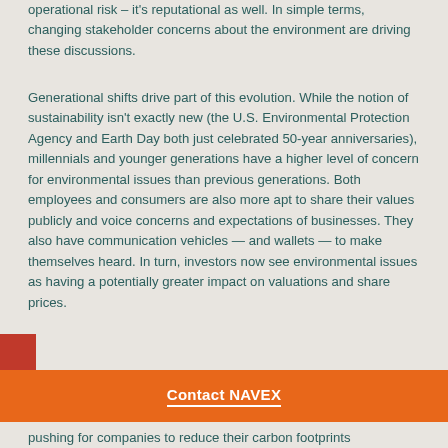operational risk – it's reputational as well. In simple terms, changing stakeholder concerns about the environment are driving these discussions.
Generational shifts drive part of this evolution. While the notion of sustainability isn't exactly new (the U.S. Environmental Protection Agency and Earth Day both just celebrated 50-year anniversaries), millennials and younger generations have a higher level of concern for environmental issues than previous generations. Both employees and consumers are also more apt to share their values publicly and voice concerns and expectations of businesses. They also have communication vehicles – and wallets – to make themselves heard. In turn, investors now see environmental issues as having a potentially greater impact on valuations and share prices.
pushing for companies to reduce their carbon footprints
Contact NAVEX